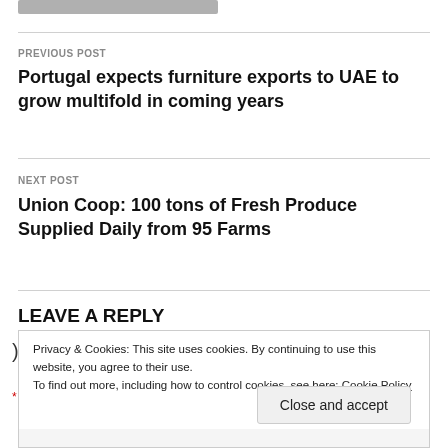[Figure (other): Gray horizontal bar at top of page]
PREVIOUS POST
Portugal expects furniture exports to UAE to grow multifold in coming years
NEXT POST
Union Coop: 100 tons of Fresh Produce Supplied Daily from 95 Farms
LEAVE A REPLY
Privacy & Cookies: This site uses cookies. By continuing to use this website, you agree to their use.
To find out more, including how to control cookies, see here: Cookie Policy